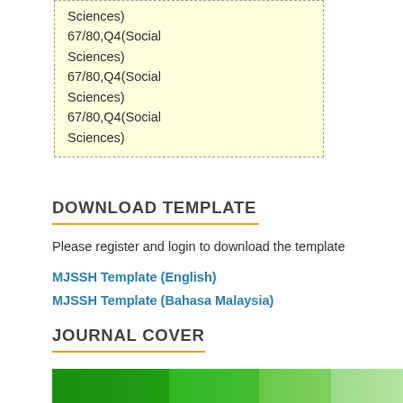Sciences) 67/80,Q4(Social Sciences) 67/80,Q4(Social Sciences) 67/80,Q4(Social Sciences)
DOWNLOAD TEMPLATE
Please register and login to download the template
MJSSH Template (English)
MJSSH Template (Bahasa Malaysia)
JOURNAL COVER
[Figure (photo): Green journal cover image at the bottom of the page]